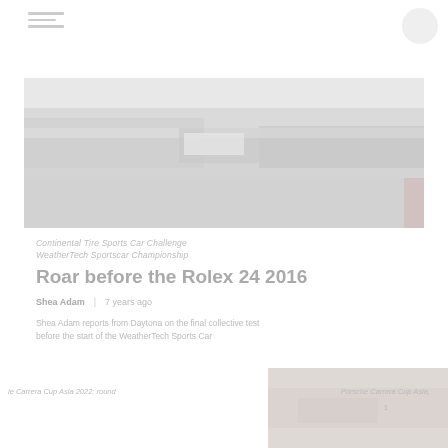navigation menu icon
[Figure (photo): Aerial or wide-angle view of a racing circuit/track area, likely Daytona, with cars and grandstands visible. Faded/washed out appearance.]
Continental Tire Sports Car Challenge
WeatherTech Sportscar Championship
Roar before the Rolex 24 2016
Shea Adam   |   7 years ago
Shea Adam reports from Daytona on the final collective test before the start of the WeatherTech Sports Car
le Carrera Cup Asia 2022: round
Porsche Carrera Cup Asia,
[Figure (photo): Small thumbnail image, faded, partial view of racing car or event.]
1